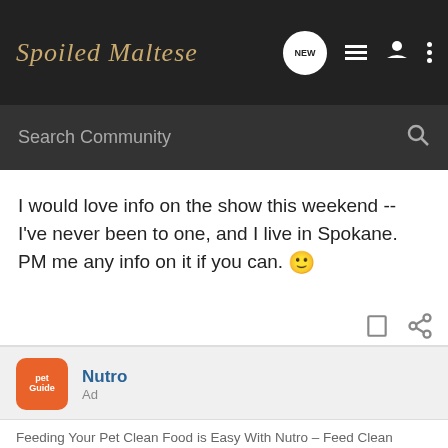Spoiled Maltese
Search Community
I would love info on the show this weekend -- I've never been to one, and I live in Spokane. PM me any info on it if you can. 🙂
[Figure (screenshot): Ad section showing Nutro pet food brand with PetGuide icon, labeled 'Ad']
Feeding Your Pet Clean Food is Easy With Nutro – Feed Clean
Feed your pet something made from healthy, quality ingredients, and formulated to meet all of their nutritional needs